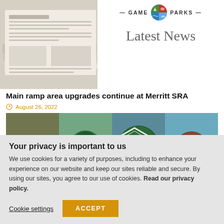[Figure (photo): Game & Parks latest news header with newspaper stack on left, circular logo in center, and 'Latest News' text on right]
Main ramp area upgrades continue at Merritt SRA
August 26, 2022
[Figure (photo): Collage of four duck/waterfowl photos with a Game & Parks flying duck emblem/logo overlay in the center]
Your privacy is important to us
We use cookies for a variety of purposes, including to enhance your experience on our website and keep our sites reliable and secure. By using our sites, you agree to our use of cookies. Read our privacy policy.
Cookie settings
ACCEPT